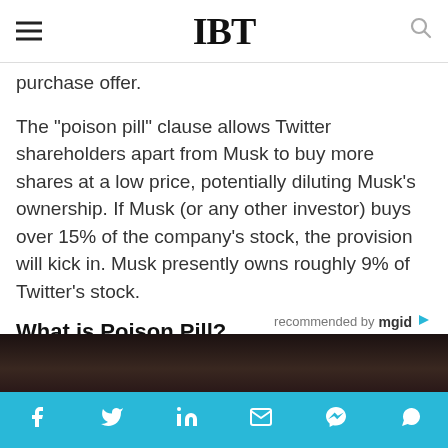IBT
purchase offer.
The "poison pill" clause allows Twitter shareholders apart from Musk to buy more shares at a low price, potentially diluting Musk's ownership. If Musk (or any other investor) buys over 15% of the company's stock, the provision will kick in. Musk presently owns roughly 9% of Twitter's stock.
What is Poison Pill?
[Figure (photo): Dark photo of a person, partially visible at the bottom of the page]
Social sharing bar with icons: Facebook, Twitter, LinkedIn, Email, Messenger, WhatsApp